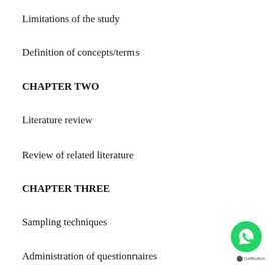Limitations of the study
Definition of concepts/terms
CHAPTER TWO
Literature review
Review of related literature
CHAPTER THREE
Sampling techniques
Administration of questionnaires
Description of instrument